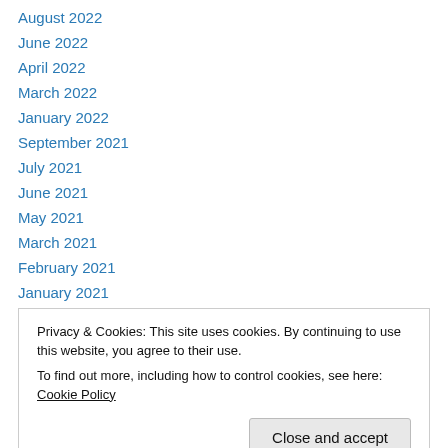August 2022
June 2022
April 2022
March 2022
January 2022
September 2021
July 2021
June 2021
May 2021
March 2021
February 2021
January 2021
December 2020
Privacy & Cookies: This site uses cookies. By continuing to use this website, you agree to their use.
To find out more, including how to control cookies, see here: Cookie Policy
Close and accept
April 2020